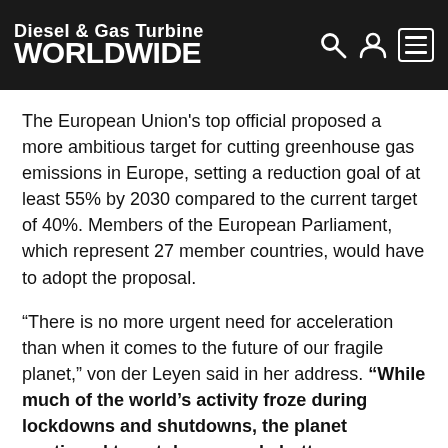Diesel & Gas Turbine WORLDWIDE
The European Union's top official proposed a more ambitious target for cutting greenhouse gas emissions in Europe, setting a reduction goal of at least 55% by 2030 compared to the current target of 40%. Members of the European Parliament, which represent 27 member countries, would have to adopt the proposal.
“There is no more urgent need for acceleration than when it comes to the future of our fragile planet,” von der Leyen said in her address. “While much of the world’s activity froze during lockdowns and shutdowns, the planet continued to get dangerously hotter.
We see it all around us: from homes evacuated due to glacier collapse on the Mont Blanc, to fires burning through Oregon, to crops destroyed in Romania by the